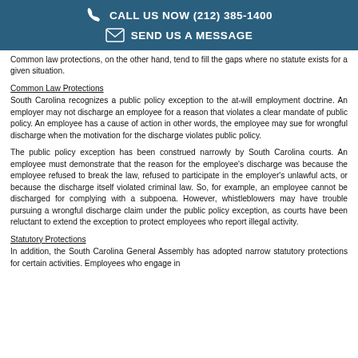CALL US NOW (212) 385-1400 | SEND US A MESSAGE
Common law protections, on the other hand, tend to fill the gaps where no statute exists for a given situation.
Common Law Protections
South Carolina recognizes a public policy exception to the at-will employment doctrine. An employer may not discharge an employee for a reason that violates a clear mandate of public policy. An employee has a cause of action in other words, the employee may sue for wrongful discharge when the motivation for the discharge violates public policy.
The public policy exception has been construed narrowly by South Carolina courts. An employee must demonstrate that the reason for the employee's discharge was because the employee refused to break the law, refused to participate in the employer's unlawful acts, or because the discharge itself violated criminal law. So, for example, an employee cannot be discharged for complying with a subpoena. However, whistleblowers may have trouble pursuing a wrongful discharge claim under the public policy exception, as courts have been reluctant to extend the exception to protect employees who report illegal activity.
Statutory Protections
In addition, the South Carolina General Assembly has adopted narrow statutory protections for certain activities. Employees who engage in